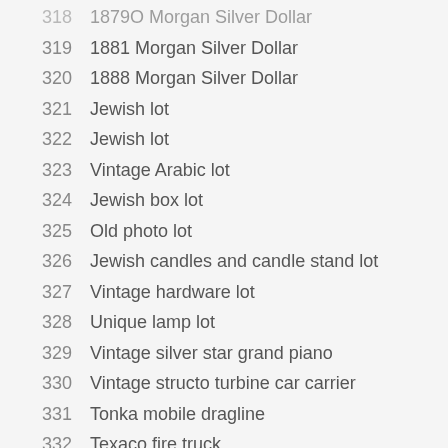318  1879O Morgan Silver Dollar
319  1881 Morgan Silver Dollar
320  1888 Morgan Silver Dollar
321  Jewish lot
322  Jewish lot
323  Vintage Arabic lot
324  Jewish box lot
325  Old photo lot
326  Jewish candles and candle stand lot
327  Vintage hardware lot
328  Unique lamp lot
329  Vintage silver star grand piano
330  Vintage structo turbine car carrier
331  Tonka mobile dragline
332  Texaco fire truck
333  Vintage advertisement signs
334  Decorative angel lamp